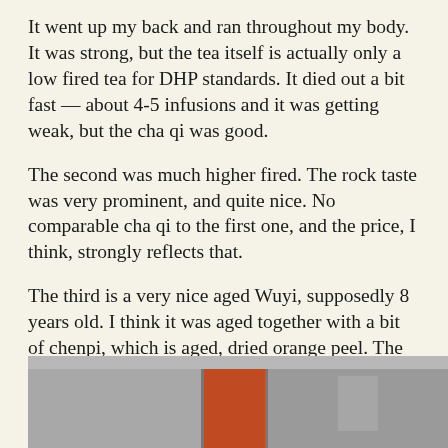It went up my back and ran throughout my body. It was strong, but the tea itself is actually only a low fired tea for DHP standards. It died out a bit fast — about 4-5 infusions and it was getting weak, but the cha qi was good.
The second was much higher fired. The rock taste was very prominent, and quite nice. No comparable cha qi to the first one, and the price, I think, strongly reflects that.
The third is a very nice aged Wuyi, supposedly 8 years old. I think it was aged together with a bit of chenpi, which is aged, dried orange peel. The Best Tea House does that with some of their aged oolongs as well, so I think it's common practice. The taste is very nice, fruity, soft, supple, subdued. They said it's not for sale, but they did quote a price when asked, so I suspect you can probably buy in very small quantities.
Just when we were leaving, we saw the proprietor of the store coming back with a plant — a Dahongpao plant they took from Wuyishan. It's a bit pathetic looking, mostly because it's dried up and sort of not doing too well in the Beijing weather and probably all the traveling
[Figure (photo): A photo showing what appears to be an interior scene with a red/orange object or sign in the center, flanked by gray areas.]